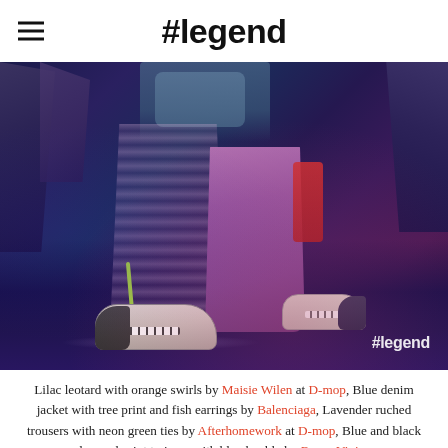#legend
[Figure (photo): Fashion editorial photo showing a person wearing lavender/lilac ruched trousers with neon green ties, a blue denim jacket, and blue and black leopard print trainers with white laces. The setting is a dramatic dark blue/purple lit environment with rocky background. A '#legend' watermark is visible in the bottom right corner.]
Lilac leotard with orange swirls by Maisie Wilen at D-mop, Blue denim jacket with tree print and fish earrings by Balenciaga, Lavender ruched trousers with neon green ties by Afterhomework at D-mop, Blue and black leopard print trainers with blue buckle by Roger Vivier